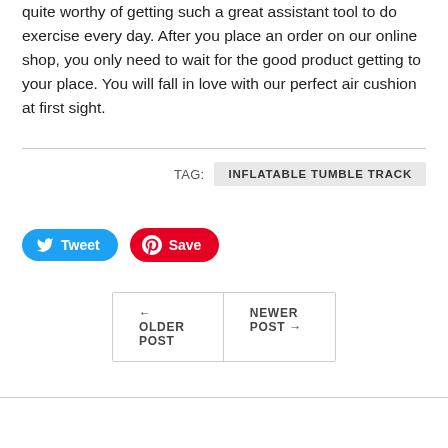quite worthy of getting such a great assistant tool to do exercise every day. After you place an order on our online shop, you only need to wait for the good product getting to your place. You will fall in love with our perfect air cushion at first sight.
TAG: INFLATABLE TUMBLE TRACK
[Figure (other): Tweet and Save (Pinterest) social sharing buttons]
← OLDER POST   NEWER POST →